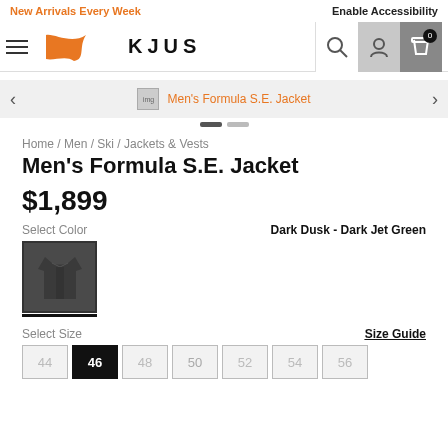New Arrivals Every Week | Enable Accessibility
[Figure (logo): KJUS brand logo with orange K swoosh graphic and KJUS wordmark]
Men&#39;s Formula S.E. Jacket
Home / Men / Ski / Jackets & Vests
Men's Formula S.E. Jacket
$1,899
Select Color | Dark Dusk - Dark Jet Green
[Figure (photo): Dark colored jacket swatch/thumbnail showing a dark grey/black ski jacket]
Select Size
Size Guide
44 | 46 | 48 | 50 | 52 | 54 | 56